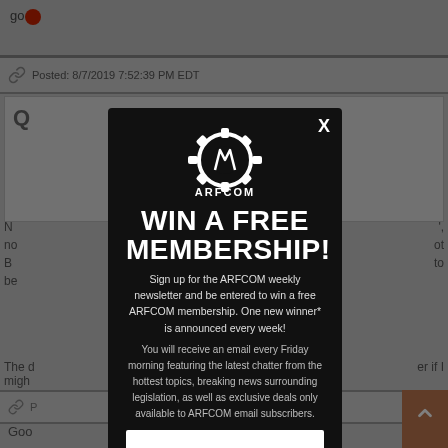[Figure (screenshot): Background webpage content from ARFCOM forum, partially visible behind modal overlay. Shows post timestamp, quoted content box with 'Q', body text fragments, and navigation elements.]
[Figure (infographic): ARFCOM modal popup with dark background. Contains ARFCOM gear logo, 'WIN A FREE MEMBERSHIP!' headline, newsletter signup description, and email input field. Close button 'X' in top right.]
WIN A FREE MEMBERSHIP!
Sign up for the ARFCOM weekly newsletter and be entered to win a free ARFCOM membership. One new winner* is announced every week!
You will receive an email every Friday morning featuring the latest chatter from the hottest topics, breaking news surrounding legislation, as well as exclusive deals only available to ARFCOM email subscribers.